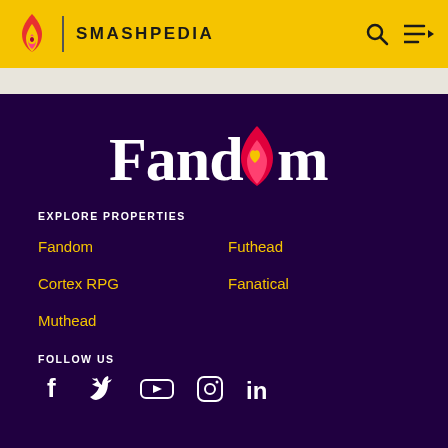SMASHPEDIA
[Figure (logo): Fandom logo with flame icon and heart, white text on dark purple background]
EXPLORE PROPERTIES
Fandom
Futhead
Cortex RPG
Fanatical
Muthead
FOLLOW US
[Figure (infographic): Social media icons: Facebook, Twitter, YouTube, Instagram, LinkedIn]